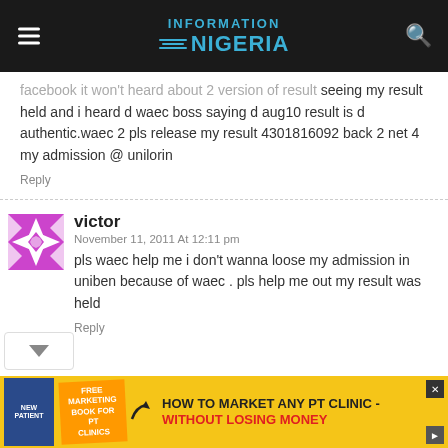INFORMATION NIGERIA
facebook it won't heard about 2 version of result seeing my result held and i heard d waec boss saying d aug10 result is d authentic.waec 2 pls release my result 4301816092 back 2 net 4 my admission @ unilorin
Reply
victor
November 11, 2011 At 12:11 pm
pls waec help me i don't wanna loose my admission in uniben because of waec . pls help me out my result was held
Reply
[Figure (infographic): Advertisement banner: HOW TO MARKET ANY PT CLINIC - WITHOUT LOSING MONEY, with a book image and free marketing book tag]